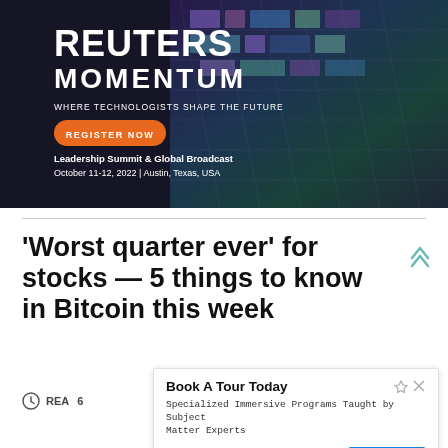[Figure (illustration): Reuters Momentum advertisement banner with dark blue/teal tech background. Text reads: REUTERS MOMENTUM, WHERE TECHNOLOGISTS SHAPE THE FUTURE, REGISTER NOW button, Leadership Summit & Global Broadcast, October 11-12, 2022 | Austin, Texas, USA]
'Worst quarter ever' for stocks — 5 things to know in Bitcoin this week
[Figure (illustration): Overlay advertisement: Book A Tour Today. Specialized Immersive Programs Taught by Subject Matter Experts. Karter School. Contact Us button.]